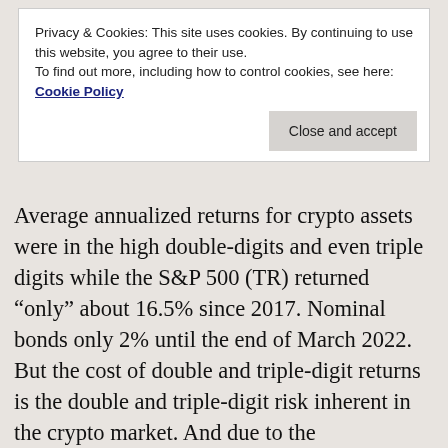Privacy & Cookies: This site uses cookies. By continuing to use this website, you agree to their use.
To find out more, including how to control cookies, see here: Cookie Policy
Close and accept
Average annualized returns for crypto assets were in the high double-digits and even triple digits while the S&P 500 (TR) returned “only” about 16.5% since 2017. Nominal bonds only 2% until the end of March 2022. But the cost of double and triple-digit returns is the double and triple-digit risk inherent in the crypto market. And due to the extraordinary volatility numbers the Sharpe Ratios, i.e., the risk-adjusted excess returns over a risk-free benchmark, look not too different from the S&P 500 over the 2017-2022 time span. Ethereum and Bitcoin did a little bit better than the S&P 500, especially during the second half of the sample